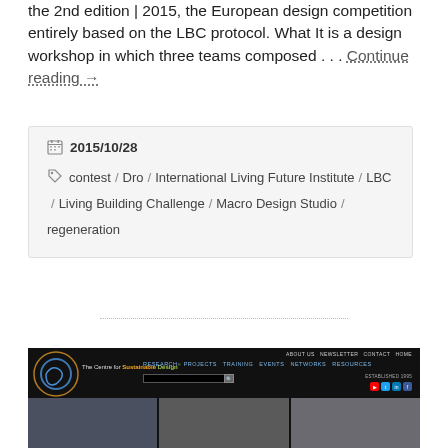the 2nd edition | 2015, the European design competition entirely based on the LBC protocol. What It is a design workshop in which three teams composed . . . Continue reading →
2015/10/28
contest / Dro / International Living Future Institute / LBC / Living Building Challenge / Macro Design Studio / regeneration
[Figure (screenshot): Website screenshot of The Centre for Sustainable Design with navigation links: ABOUT US, NEWSLETTER, CONTACT, HOME, RESEARCH, PROJECTS, TRAINING, EVENTS, NETWORKS, RESOURCES, search bar, ESTABLISHED 1995, social media icons]
[Figure (photo): Three partially visible photos at the bottom of the page in dark tones]